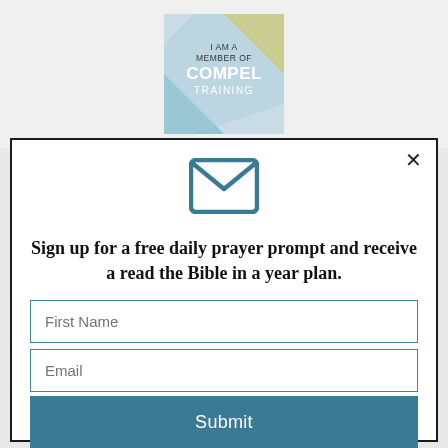[Figure (logo): Compel Training membership badge logo with text 'I AM A MEMBER OF COMPEL TRAINING' on a colorful abstract background of teal, yellow, and blue.]
[Figure (illustration): Email envelope icon in teal/blue color, simple outline style.]
Sign up for a free daily prayer prompt and receive a read the Bible in a year plan.
First Name
Email
Submit